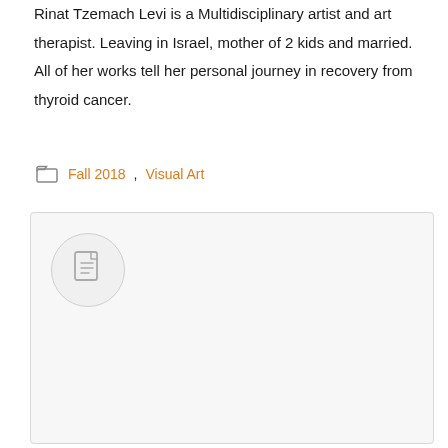Rinat Tzemach Levi is a Multidisciplinary artist and art therapist. Leaving in Israel, mother of 2 kids and married. All of her works tell her personal journey in recovery from thyroid cancer.
Fall 2018, Visual Art
[Figure (other): A card or post placeholder box with a document icon inside a circle, light grey background with border.]